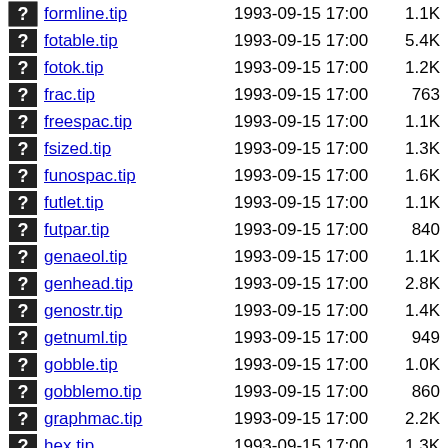formline.tip  1993-09-15 17:00  1.1K
fotable.tip   1993-09-15 17:00  5.4K
fotok.tip     1993-09-15 17:00  1.2K
frac.tip      1993-09-15 17:00   763
freespac.tip  1993-09-15 17:00  1.1K
fsized.tip    1993-09-15 17:00  1.3K
funospac.tip  1993-09-15 17:00  1.6K
futlet.tip    1993-09-15 17:00  1.1K
futpar.tip    1993-09-15 17:00   840
genaeol.tip   1993-09-15 17:00  1.1K
genhead.tip   1993-09-15 17:00  2.8K
genostr.tip   1993-09-15 17:00  1.4K
getnuml.tip   1993-09-15 17:00   949
gobble.tip    1993-09-15 17:00  1.0K
gobblemo.tip  1993-09-15 17:00   860
graphmac.tip  1993-09-15 17:00  2.2K
hex.tip       1993-09-15 17:00  1.3K
ifeven.tip    1993-09-15 17:00   938